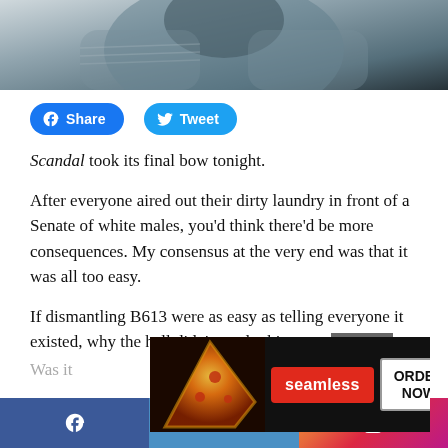[Figure (photo): Blurred photo of a person in a grey sweater, top of frame]
[Figure (infographic): Facebook Share button (blue rounded rectangle) and Twitter Tweet button (blue rounded rectangle) side by side]
Scandal took its final bow tonight.
After everyone aired out their dirty laundry in front of a Senate of white males, you'd think there'd be more consequences. My consensus at the very end was that it was all too easy.
If dismantling B613 were as easy as telling everyone it existed, why the hell didn't we do this soone
Was it
[Figure (screenshot): Seamless food delivery advertisement banner with pizza image, Seamless logo in red, and ORDER NOW button]
[Figure (infographic): Social media footer bar with Facebook, Twitter, and Instagram icons]